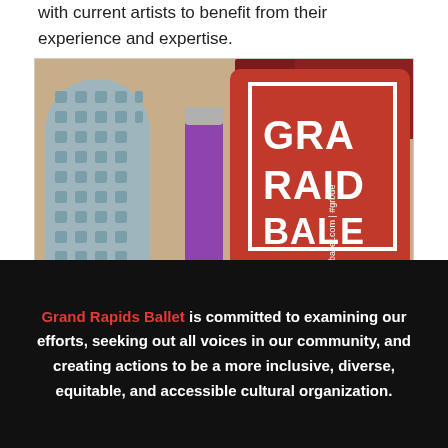with current artists to benefit from their experience and expertise.
[Figure (photo): Photo of a Grand Rapids Ballet red gym bag with logo, alongside a foam roller and water bottle on a wooden floor.]
Grand Rapids Ballet is committed to examining our efforts, seeking out all voices in our community, and creating actions to be a more inclusive, diverse, equitable, and accessible cultural organization.